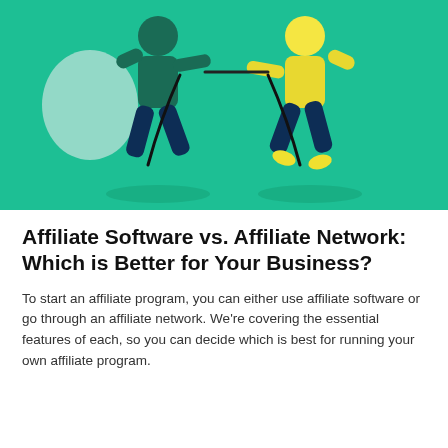[Figure (illustration): Two illustrated figures engaged in a tug-of-war on a teal/green background. Left figure wears a green top and dark blue pants, pulling a rope to the left with a shield-like shape behind them. Right figure wears a yellow top and dark blue pants, pulling the rope to the right with yellow shoes.]
Affiliate Software vs. Affiliate Network: Which is Better for Your Business?
To start an affiliate program, you can either use affiliate software or go through an affiliate network. We're covering the essential features of each, so you can decide which is best for running your own affiliate program.